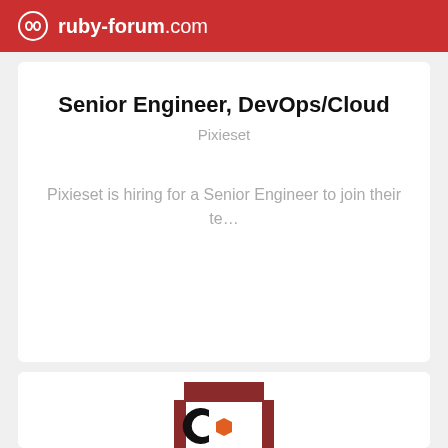ruby-forum.com
Senior Engineer, DevOps/Cloud
Pixieset
Pixieset is hiring for a Senior Engineer to join their te...
[Figure (logo): Company logo with stylized C letter on dark red background with orange hexagon]
Senior Data Reliability Engineer